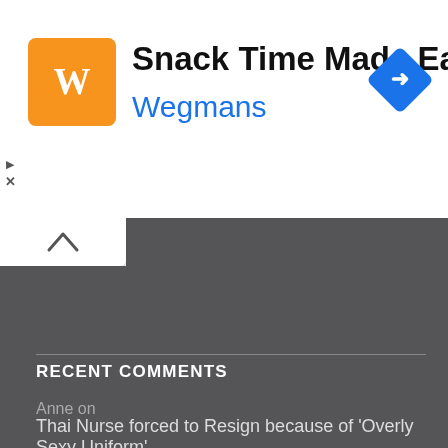[Figure (logo): Wegmans Snack Time Made Easy advertisement banner with orange logo icon and blue navigation diamond icon]
Snack Time Made Easy
Wegmans
RECENT COMMENTS
Anne on
Thai Nurse forced to Resign because of ‘Overly Sexy Uniform’
Kelly on
Thai Nurse forced to Resign because of ‘Overly Sexy